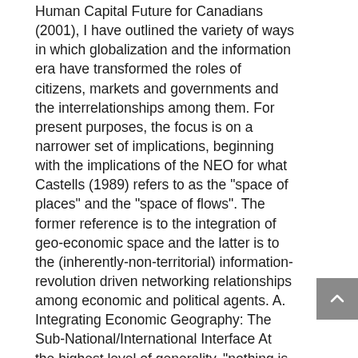Human Capital Future for Canadians (2001), I have outlined the variety of ways in which globalization and the information era have transformed the roles of citizens, markets and governments and the interrelationships among them. For present purposes, the focus is on a narrower set of implications, beginning with the implications of the NEO for what Castells (1989) refers to as the "space of places" and the "space of flows". The former reference is to the integration of geo-economic space and the latter is to the (inherently-non-territorial) information-revolution driven networking relationships among economic and political agents. A. Integrating Economic Geography: The Sub-National/International Interface At the highest level of generality, "nothing is 'overseas' any longer" (Ohmae, 1990, vii). Alternatively, everything is! Ohmae (1993,98) further observes, "On the global economic map, the lines that now matter are those defining what might be called 'region-states'. Indeed in